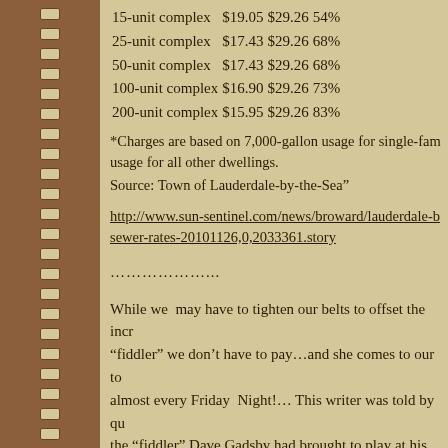| 15-unit complex | $19.05 | $29.26 | 54% |
| 25-unit complex | $17.43 | $29.26 | 68% |
| 50-unit complex | $17.43 | $29.26 | 68% |
| 100-unit complex | $16.90 | $29.26 | 73% |
| 200-unit complex | $15.95 | $29.26 | 83% |
*Charges are based on 7,000-gallon usage for single-family usage for all other dwellings.
Source: Town of Lauderdale-by-the-Sea”
http://www.sun-sentinel.com/news/broward/lauderdale-b sewer-rates-20101126,0,2033361.story
………………..
While we  may have to tighten our belts to offset the incr “fiddler” we don’t have to pay…and she comes to our to almost every Friday  Night!… This writer was told by qu the “fiddler” Dave Gadsby had brought to play at his Fri event… I did and boy am I glad I did!…Those who prom